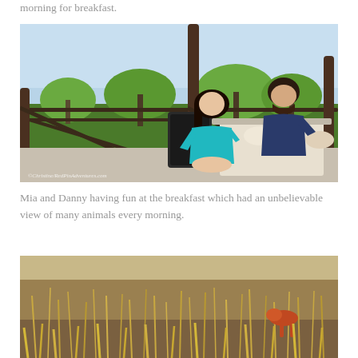morning for breakfast.
[Figure (photo): A girl in a teal shirt and a bearded man sit at an outdoor breakfast table on a patio with a railing, green grass and savanna trees in the background. Watermark reads ©Christine/RedPinAdventures.com]
Mia and Danny having fun at the breakfast which had an unbelievable view of many animals every morning.
[Figure (photo): Outdoor savanna scene with dry grass and what appears to be a bird or animal partially visible, natural habitat setting.]